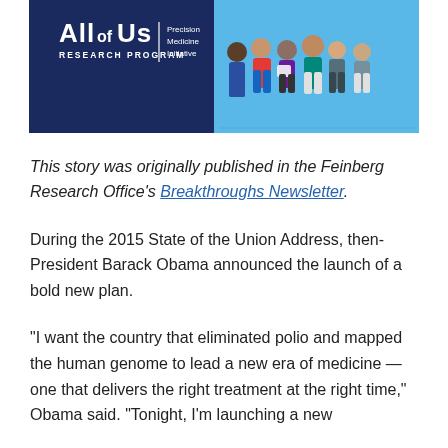[Figure (photo): All of Us Research Program banner image with logo on left dark blue background and diverse group of people on right light blue background]
This story was originally published in the Feinberg Research Office's Breakthroughs Newsletter.
During the 2015 State of the Union Address, then-President Barack Obama announced the launch of a bold new plan.
“I want the country that eliminated polio and mapped the human genome to lead a new era of medicine — one that delivers the right treatment at the right time,” Obama said. “Tonight, I’m launching a new